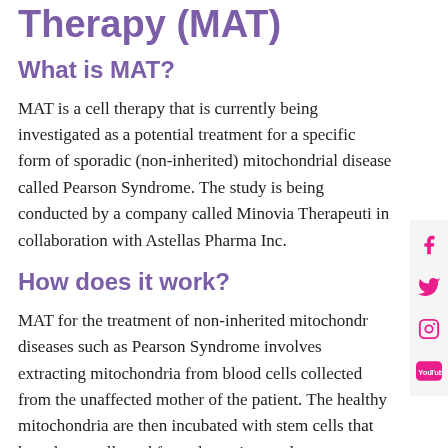Therapy (MAT)
What is MAT?
MAT is a cell therapy that is currently being investigated as a potential treatment for a specific form of sporadic (non-inherited) mitochondrial disease called Pearson Syndrome. The study is being conducted by a company called Minovia Therapeutics in collaboration with Astellas Pharma Inc.
How does it work?
MAT for the treatment of non-inherited mitochondrial diseases such as Pearson Syndrome involves extracting mitochondria from blood cells collected from the unaffected mother of the patient. The healthy mitochondria are then incubated with stem cells that have been collected from the patient and